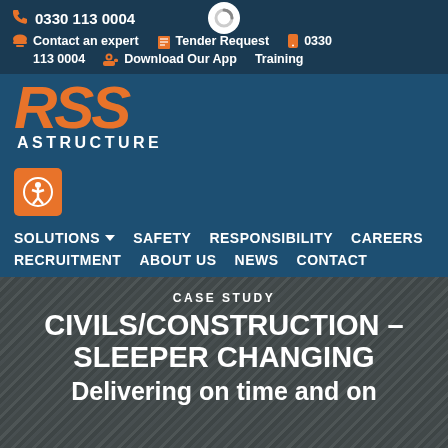0330 113 0004 | Contact an expert | Tender Request | 0330 | 113 0004 | Download Our App | Training
[Figure (logo): RSS Infrastructure logo with orange RSS letters and white INFRASTRUCTURE text below]
SOLUTIONS | SAFETY | RESPONSIBILITY | CAREERS | RECRUITMENT | ABOUT US | NEWS | CONTACT
CASE STUDY
CIVILS/CONSTRUCTION – SLEEPER CHANGING
Delivering on time and on